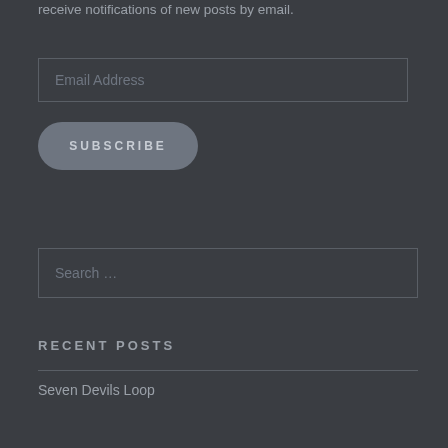Enter your email address to subscribe to Allightymeal and receive notifications of new posts by email.
Email Address
SUBSCRIBE
Search …
RECENT POSTS
Seven Devils Loop